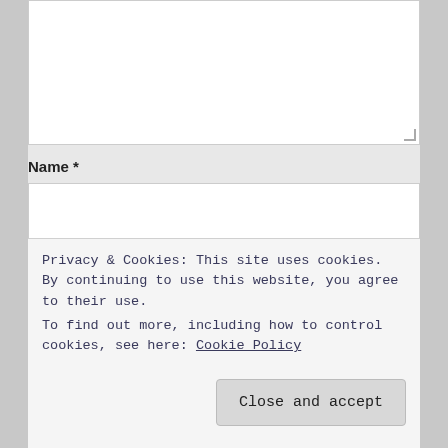[Figure (screenshot): Large comment textarea input box at top of page, partially visible]
Name *
[Figure (screenshot): Name text input field]
Email *
[Figure (screenshot): Email text input field]
Website
[Figure (screenshot): Website text input field]
Privacy & Cookies: This site uses cookies. By continuing to use this website, you agree to their use.
To find out more, including how to control cookies, see here: Cookie Policy
Close and accept